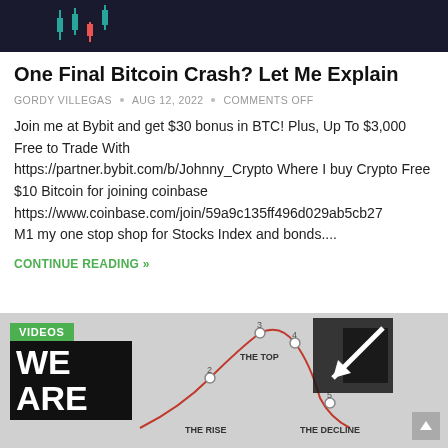[Figure (illustration): Dark banner with candlestick chart lines in teal/red at top of page]
One Final Bitcoin Crash? Let Me Explain
GORDY VILLEGAS • AUG 12, 2022 • COMMENTS OFF
Join me at Bybit and get $30 bonus in BTC! Plus, Up To $3,000 Free to Trade With https://partner.bybit.com/b/Johnny_Crypto Where I buy Crypto Free $10 Bitcoin for joining coinbase https://www.coinbase.com/join/59a9c135ff496d029ab5cb27 M1 my one stop shop for Stocks Index and bonds....
CONTINUE READING »
[Figure (illustration): Banner image showing market cycle diagram with 'THE TOP', 'THE RISE', 'THE DECLINE' labels and a curved line, with 'WE ARE' text overlay on dark background, VIDEOS badge, and large black arrow]